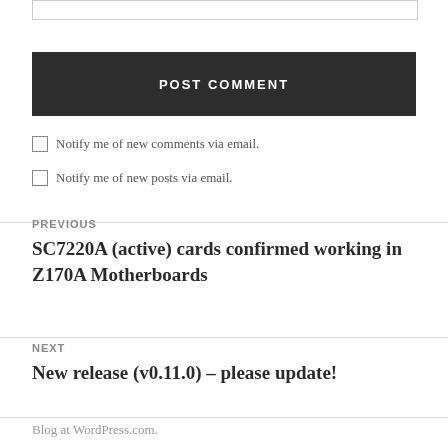POST COMMENT
Notify me of new comments via email.
Notify me of new posts via email.
PREVIOUS
SC7220A (active) cards confirmed working in Z170A Motherboards
NEXT
New release (v0.11.0) – please update!
Blog at WordPress.com.